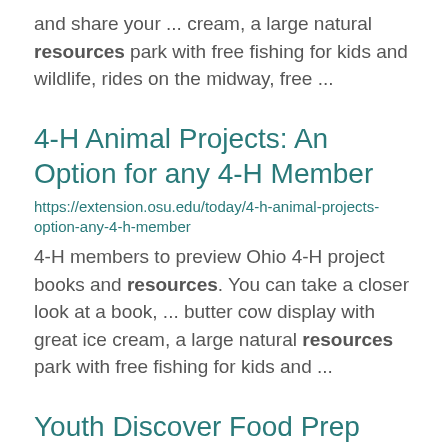and share your ... cream, a large natural resources park with free fishing for kids and wildlife, rides on the midway, free ...
4-H Animal Projects: An Option for any 4-H Member
https://extension.osu.edu/today/4-h-animal-projects-option-any-4-h-member
4-H members to preview Ohio 4-H project books and resources. You can take a closer look at a book, ... butter cow display with great ice cream, a large natural resources park with free fishing for kids and ...
Youth Discover Food Prep through